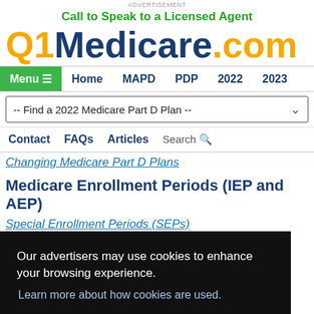Advertisement
Call to Speak to a Licensed Agent
Q1Medicare.com
Menu ≡  Home  MAPD  PDP  2022  2023
-- Find a 2022 Medicare Part D Plan --
Contact  FAQs  Articles  Search
Changing Medicare Part D Plans
Medicare Enrollment Periods (IEP and AEP)
Special Enrollment Periods (SEPs)
Our advertisers may use cookies to enhance your browsing experience.
Learn more about how cookies are used.
Agree
Extra Help - LIS - Medicaid